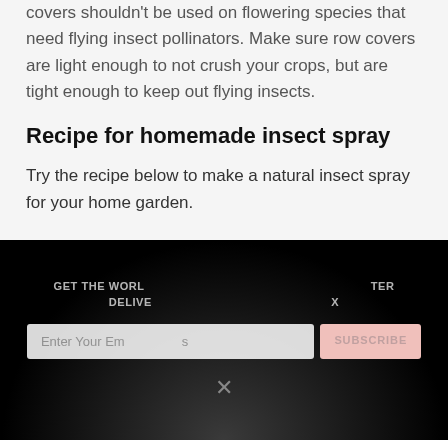covers shouldn't be used on flowering species that need flying insect pollinators. Make sure row covers are light enough to not crush your crops, but are tight enough to keep out flying insects.
Recipe for homemade insect spray
Try the recipe below to make a natural insect spray for your home garden.
GET THE WORLD'S BEST NATURAL HEALTH NEWSLETTER DELIVERED STRAIGHT TO YOUR INBOX
Enter Your Email Address
SUBSCRIBE
BY CONTINUING TO BROWSE OUR SITE YOU AGREE TO OUR USE OF COOKIES AND OUR PRIVACY POLICY.
Agree and close